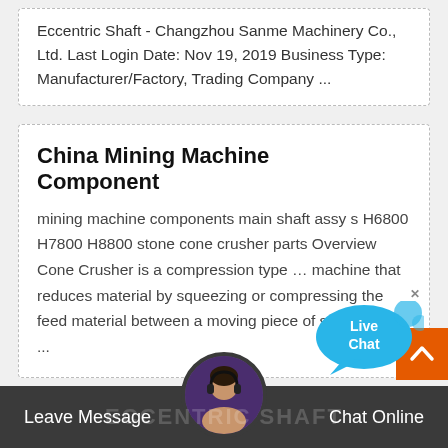Eccentric Shaft - Changzhou Sanme Machinery Co., Ltd. Last Login Date: Nov 19, 2019 Business Type: Manufacturer/Factory, Trading Company ...
China Mining Machine Component
mining machine components main shaft assy s H6800 H7800 H8800 stone cone crusher parts Overview Cone Crusher is a compression type … machine that reduces material by squeezing or compressing the feed material between a moving piece of steel and a ...
Leave Message   ECCENTRIC SHAFT   Chat Online